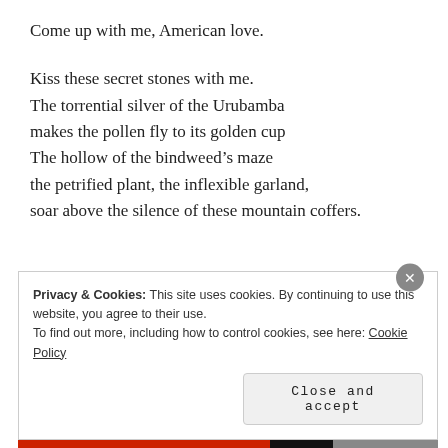Come up with me, American love.

Kiss these secret stones with me.
The torrential silver of the Urubamba
makes the pollen fly to its golden cup
The hollow of the bindweed’s maze
the petrified plant, the inflexible garland,
soar above the silence of these mountain coffers.
Privacy & Cookies: This site uses cookies. By continuing to use this website, you agree to their use.
To find out more, including how to control cookies, see here: Cookie Policy
Close and accept